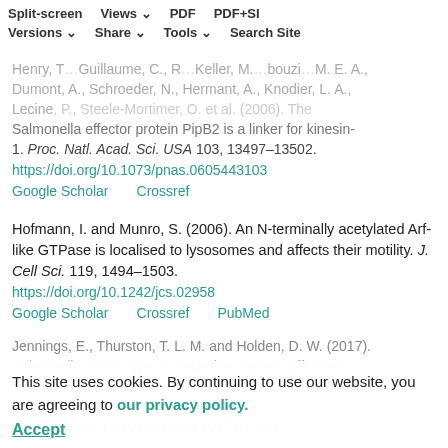Navigation bar: Split-screen | Views | PDF | PDF+SI | Versions | Share | Tools | Search Site
Henry, T., Gorvel, J.-C., Robotta, C., Keller, M., Roubazi, M. E. A., Dumont, A., Schroeder, N., Hermant, A., Knodier, L. A., Lecine, P., Steele-Mortimer, O. et al. (2006). The Salmonella effector protein PipB2 is a linker for kinesin-1. Proc. Natl. Acad. Sci. USA 103, 13497-13502. https://doi.org/10.1073/pnas.0605443103
Google Scholar   Crossref
Hofmann, I. and Munro, S. (2006). An N-terminally acetylated Arf-like GTPase is localised to lysosomes and affects their motility. J. Cell Sci. 119, 1494-1503. https://doi.org/10.1242/jcs.02958
Google Scholar   Crossref   PubMed
Jennings, E., Thurston, T. L. M. and Holden, D. W. (2017). Salmonella SPI-2 Type III Secretion System Effectors: Molecular Mechanisms and Physiological Consequences. Cell Host Microbe 22, 217-231. https://doi.org/10.1016/j.chom.2017.07.009
This site uses cookies. By continuing to use our website, you are agreeing to our privacy policy. Accept